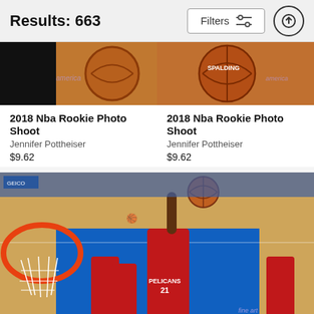Results: 663
[Figure (screenshot): Filters button with sliders icon]
[Figure (photo): Partial cropped NBA basketball photo top left - 2018 NBA Rookie Photo Shoot]
[Figure (photo): Partial cropped NBA basketball photo top right - 2018 NBA Rookie Photo Shoot with Spalding ball]
2018 Nba Rookie Photo Shoot
Jennifer Pottheiser
$9.62
2018 Nba Rookie Photo Shoot
Jennifer Pottheiser
$9.62
[Figure (photo): NBA basketball game photo showing a New Orleans Pelicans player #21 dunking/reaching for the ball near the basket. Players in red Pelicans jerseys visible. Arena court with blue paint visible.]